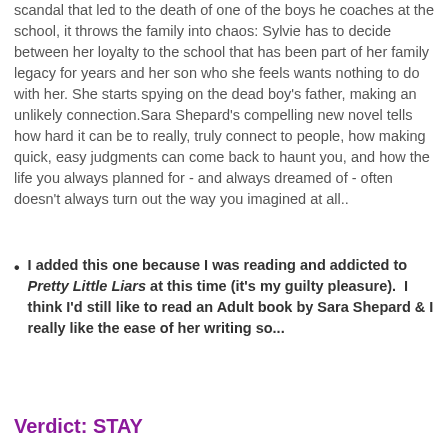scandal that led to the death of one of the boys he coaches at the school, it throws the family into chaos: Sylvie has to decide between her loyalty to the school that has been part of her family legacy for years and her son who she feels wants nothing to do with her. She starts spying on the dead boy's father, making an unlikely connection.Sara Shepard's compelling new novel tells how hard it can be to really, truly connect to people, how making quick, easy judgments can come back to haunt you, and how the life you always planned for - and always dreamed of - often doesn't always turn out the way you imagined at all..
I added this one because I was reading and addicted to Pretty Little Liars at this time (it's my guilty pleasure).  I think I'd still like to read an Adult book by Sara Shepard & I really like the ease of her writing so...
Verdict: STAY